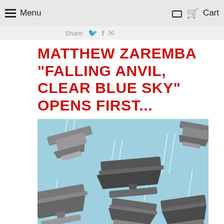Menu   Cart
Share:
MATTHEW ZAREMBA “FALLING ANVIL, CLEAR BLUE SKY” OPENS FIRST...
[Figure (illustration): Illustration of multiple anvils falling through a clear blue sky with white diagonal streaks suggesting motion/rain. Anvils are drawn in gray and dark tones, various sizes and orientations scattered across the composition.]